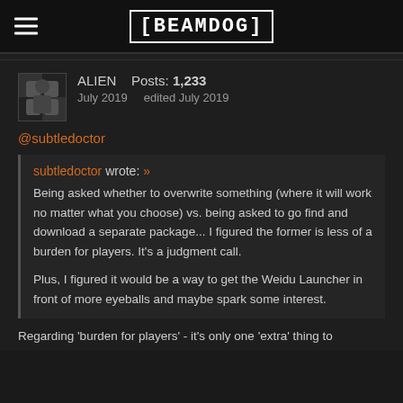[BEAMDOG]
ALIEN   Posts: 1,233
July 2019    edited July 2019
@subtledoctor
subtledoctor wrote: »
Being asked whether to overwrite something (where it will work no matter what you choose) vs. being asked to go find and download a separate package... I figured the former is less of a burden for players. It's a judgment call.

Plus, I figured it would be a way to get the Weidu Launcher in front of more eyeballs and maybe spark some interest.
Regarding 'burden for players' - it's only one 'extra' thing to